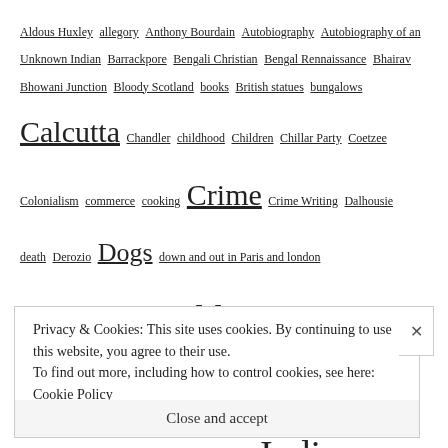Aldous Huxley allegory Anthony Bourdain Autobiography Autobiography of an Unknown Indian Barrackpore Bengali Christian Bengal Rennaissance Bhairav Bhowani Junction Bloody Scotland books British statues bungalows Calcutta Chandler childhood Children Chillar Party Coetzee Colonialism commerce cooking Crime Crime Writing Dalhousie death Derozio Dogs down and out in Paris and london Downton Abbey Dufferin Empire Empire British colonialism Lord Into ethnic fairy Film gender George Orwell Ghost stories Ghote Golden Age Crime Hammett Hard-boiled detective Hate Hiranmay Karlekar Hitler hotels HRF Keating India Indian Journal Indian writing in English J.R.R.Tolkien Kiran
Privacy & Cookies: This site uses cookies. By continuing to use this website, you agree to their use.
To find out more, including how to control cookies, see here: Cookie Policy
Close and accept